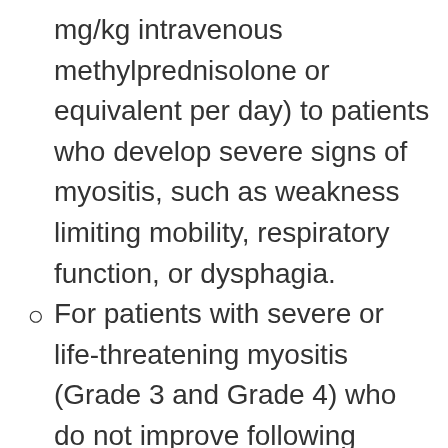mg/kg intravenous methylprednisolone or equivalent per day) to patients who develop severe signs of myositis, such as weakness limiting mobility, respiratory function, or dysphagia.
For patients with severe or life-threatening myositis (Grade 3 and Grade 4) who do not improve following corticosteroid therapy, consider administration of other immunosuppressive agents as described in the American Society of Clinical Oncology Clinical Practice